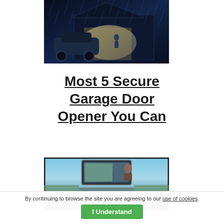[Figure (photo): A car in a rainy night scene with a garage door opening, illuminated by lights]
Most 5 Secure Garage Door Opener You Can
[Figure (photo): Car interior dashboard view showing a rearview mirror with a screen/display]
By continuing to browse the site you are agreeing to our use of cookies. I Understand